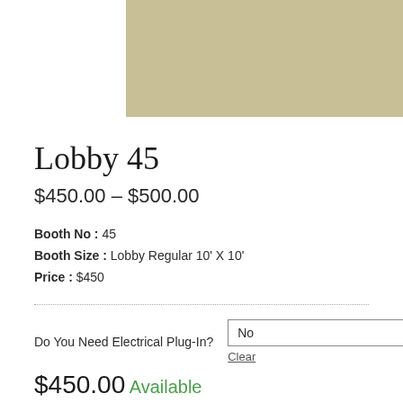[Figure (other): Tan/beige colored image placeholder at top of page]
Lobby 45
$450.00 – $500.00
Booth No : 45
Booth Size : Lobby Regular 10' X 10'
Price : $450
Do You Need Electrical Plug-In?
No (dropdown selection)
Clear
$450.00  Available